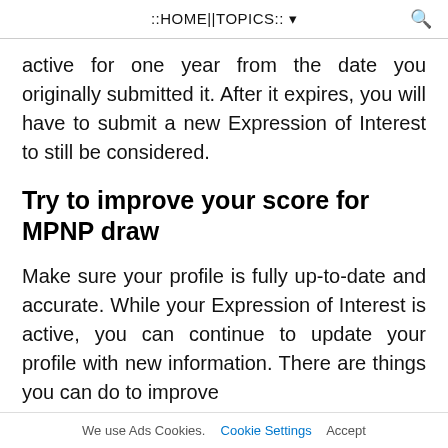::HOME||TOPICS:: ▾
active for one year from the date you originally submitted it. After it expires, you will have to submit a new Expression of Interest to still be considered.
Try to improve your score for MPNP draw
Make sure your profile is fully up-to-date and accurate. While your Expression of Interest is active, you can continue to update your profile with new information. There are things you can do to improve
We use Ads Cookies.  Cookie Settings  Accept